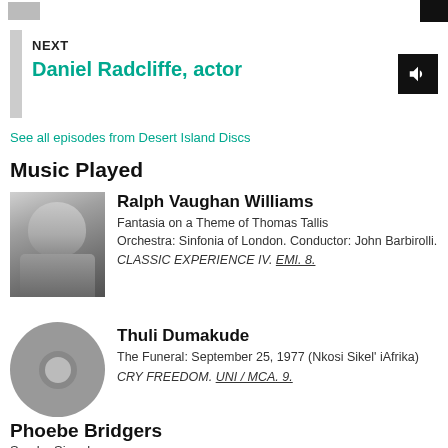NEXT
Daniel Radcliffe, actor
See all episodes from Desert Island Discs
Music Played
[Figure (photo): Black and white photo of Ralph Vaughan Williams]
Ralph Vaughan Williams
Fantasia on a Theme of Thomas Tallis
Orchestra: Sinfonia of London. Conductor: John Barbirolli.
CLASSIC EXPERIENCE IV. EMI. 8.
[Figure (illustration): Gray disc/record icon placeholder image]
Thuli Dumakude
The Funeral: September 25, 1977 (Nkosi Sikel' iAfrika)
CRY FREEDOM. UNI / MCA. 9.
Phoebe Bridgers
Smoke Signals